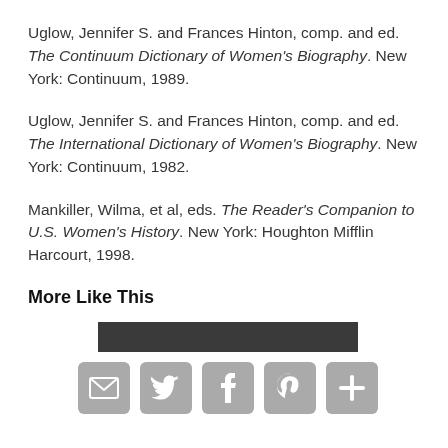Uglow, Jennifer S. and Frances Hinton, comp. and ed. The Continuum Dictionary of Women's Biography. New York: Continuum, 1989.
Uglow, Jennifer S. and Frances Hinton, comp. and ed. The International Dictionary of Women's Biography. New York: Continuum, 1982.
Mankiller, Wilma, et al, eds. The Reader's Companion to U.S. Women's History. New York: Houghton Mifflin Harcourt, 1998.
More Like This
[Figure (other): Dark image thumbnail placeholder above social sharing icons]
[Figure (infographic): Social sharing icons: email (envelope), Twitter (bird), Facebook (f), Pinterest (P), and a plus/more icon, all in gray rounded squares]